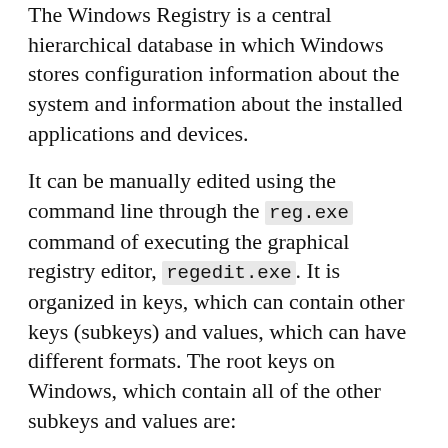The Windows Registry is a central hierarchical database in which Windows stores configuration information about the system and information about the installed applications and devices.
It can be manually edited using the command line through the reg.exe command of executing the graphical registry editor, regedit.exe. It is organized in keys, which can contain other keys (subkeys) and values, which can have different formats. The root keys on Windows, which contain all of the other subkeys and values are:
HKEY_LOCAL_MACHINE (HKLM) : This key contains information about the configuration of the system that is common for all users. One of its subkeys, HKLM\SOFTWARE, contains information about the software in the machine organized by